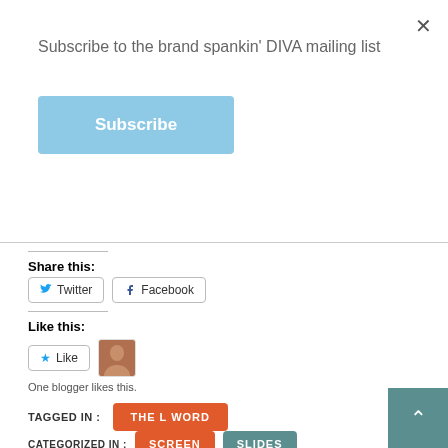Subscribe to the brand spankin' DIVA mailing list
Subscribe
Share this:
Twitter
Facebook
Like this:
Like
One blogger likes this.
TAGGED IN :
THE L WORD
CATEGORIZED IN :
SCREEN
SLIDES